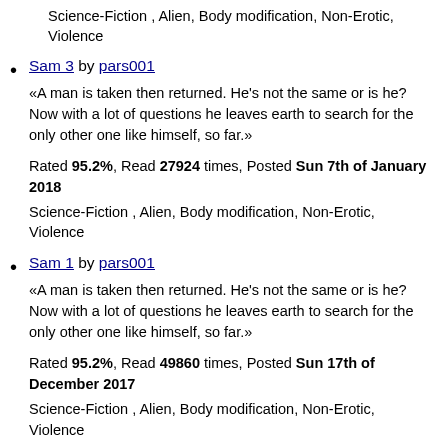Science-Fiction , Alien, Body modification, Non-Erotic, Violence
Sam 3 by pars001
«A man is taken then returned. He's not the same or is he? Now with a lot of questions he leaves earth to search for the only other one like himself, so far.»
Rated 95.2%, Read 27924 times, Posted Sun 7th of January 2018
Science-Fiction , Alien, Body modification, Non-Erotic, Violence
Sam 1 by pars001
«A man is taken then returned. He's not the same or is he? Now with a lot of questions he leaves earth to search for the only other one like himself, so far.»
Rated 95.2%, Read 49860 times, Posted Sun 17th of December 2017
Science-Fiction , Alien, Body modification, Non-Erotic, Violence